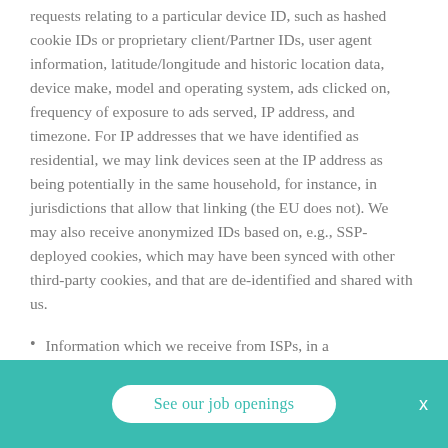requests relating to a particular device ID, such as hashed cookie IDs or proprietary client/Partner IDs, user agent information, latitude/longitude and historic location data, device make, model and operating system, ads clicked on, frequency of exposure to ads served, IP address, and timezone. For IP addresses that we have identified as residential, we may link devices seen at the IP address as being potentially in the same household, for instance, in jurisdictions that allow that linking (the EU does not). We may also receive anonymized IDs based on, e.g., SSP-deployed cookies, which may have been synced with other third-party cookies, and that are de-identified and shared with us.
Information which we receive from ISPs, in a
See our job openings